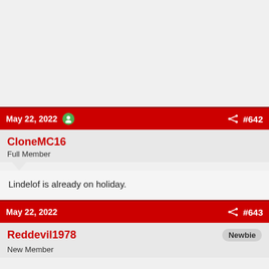May 22, 2022  #642
CloneMC16
Full Member
Lindelof is already on holiday.
May 22, 2022  #643
Reddevil1978
Newbie
New Member